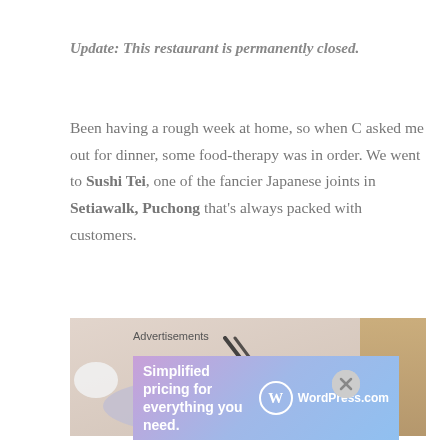Update: This restaurant is permanently closed.
Been having a rough week at home, so when C asked me out for dinner, some food-therapy was in order. We went to Sushi Tei, one of the fancier Japanese joints in Setiawalk, Puchong that's always packed with customers.
[Figure (photo): Photo of Japanese food - dark sauced pieces on a light purple plate with wasabi, chopsticks visible, warm background with menu/book on right]
Advertisements
[Figure (other): WordPress.com advertisement banner: 'Simplified pricing for everything you need.' with WordPress.com logo on gradient purple-blue background]